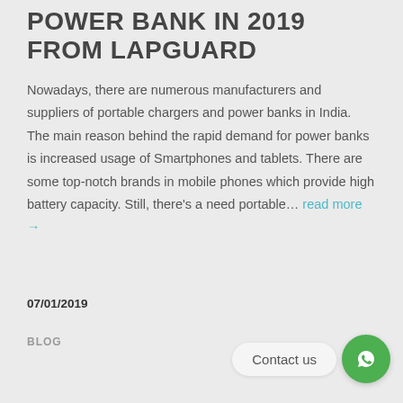POWER BANK IN 2019 FROM LAPGUARD
Nowadays, there are numerous manufacturers and suppliers of portable chargers and power banks in India. The main reason behind the rapid demand for power banks is increased usage of Smartphones and tablets. There are some top-notch brands in mobile phones which provide high battery capacity. Still, there's a need portable… read more →
07/01/2019
BLOG
Contact us